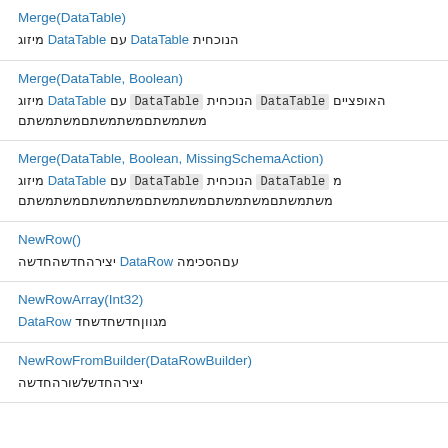Merge(DataTable)
מיזוג DataTable עם DataTable הנוכחי
Merge(DataTable, Boolean)
מיזוג DataTable עם DataTable הנוכחי, DataTable מה תוכן שלה
Merge(DataTable, Boolean, MissingSchemaAction)
מיזוג DataTable עם DataTable הנוכחי, DataTable מ תוכנה הרחוקים
NewRow()
יצירה חדשה של DataRow עם הסכימה
NewRowArray(Int32)
DataRow מגוון חדש
NewRowFromBuilder(DataRowBuilder)
יצירה חדש לשורה